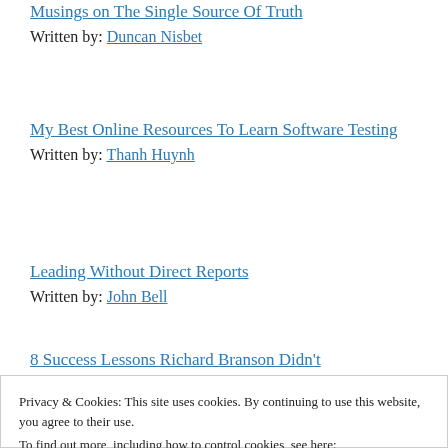Musings on The Single Source Of Truth
Written by: Duncan Nisbet
My Best Online Resources To Learn Software Testing
Written by: Thanh Huynh
Leading Without Direct Reports
Written by: John Bell
8 Success Lessons Richard Branson Didn't
Privacy & Cookies: This site uses cookies. By continuing to use this website, you agree to their use.
To find out more, including how to control cookies, see here: Cookie Policy
Close and accept